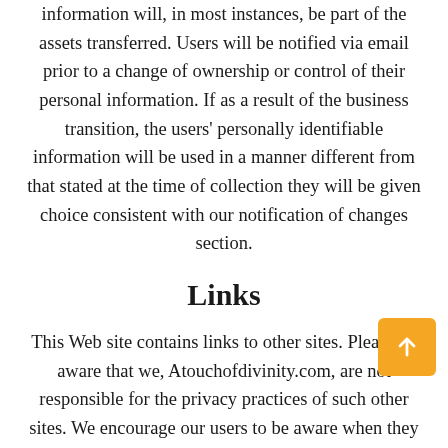information will, in most instances, be part of the assets transferred. Users will be notified via email prior to a change of ownership or control of their personal information. If as a result of the business transition, the users' personally identifiable information will be used in a manner different from that stated at the time of collection they will be given choice consistent with our notification of changes section.
Links
This Web site contains links to other sites. Please be aware that we, Atouchofdivinity.com, are not responsible for the privacy practices of such other sites. We encourage our users to be aware when they